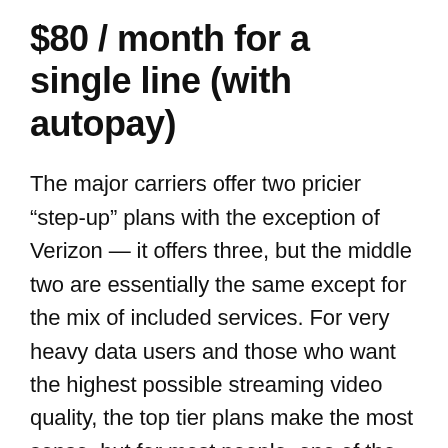$80 / month for a single line (with autopay)
The major carriers offer two pricier “step-up” plans with the exception of Verizon — it offers three, but the middle two are essentially the same except for the mix of included services. For very heavy data users and those who want the highest possible streaming video quality, the top tier plans make the most sense, but for most people, one of the middle-of-the-road options is likely a better fit. Verizon’s 5G Play More Unlimited (and nearly identical Do More) plan isn’t the cheapest option, but it strikes the best balance of cost versus features.
You’ll get 720p HD video streaming typically on